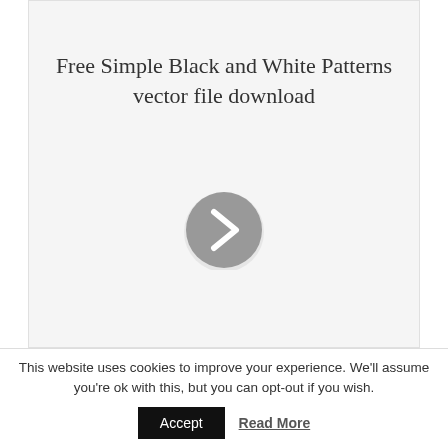Free Simple Black and White Patterns vector file download
[Figure (illustration): A circular gray button with a right-pointing chevron/arrow icon in white, centered on a light gray card background]
This website uses cookies to improve your experience. We'll assume you're ok with this, but you can opt-out if you wish.
Accept | Read More